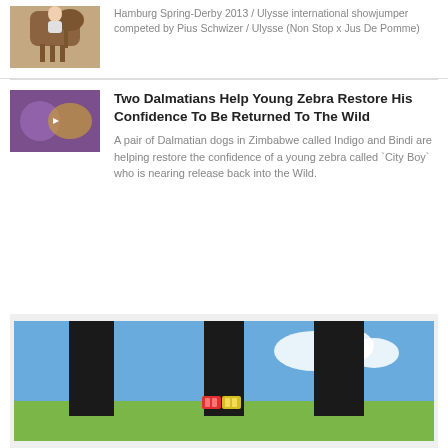[Figure (photo): Thumbnail of a horse with a rider, Hamburg Spring-Derby equestrian event]
Hamburg Spring-Derby 2013 / Ulysse international showjumper competed by Pius Schwizer / Ulysse (Non Stop x Jus De Pomme)
[Figure (photo): Thumbnail of two Dalmatian dogs with a young zebra]
Two Dalmatians Help Young Zebra Restore His Confidence To Be Returned To The Wild
A pair of Dalmatian dogs in Zimbabwe called Indigo and Bindi are helping restore the confidence of a young zebra called `City Boy` who is nearing release back into the Wild.
[Figure (photo): Close-up photo of black horse legs on green grass with colorful red and yellow ankle bands]